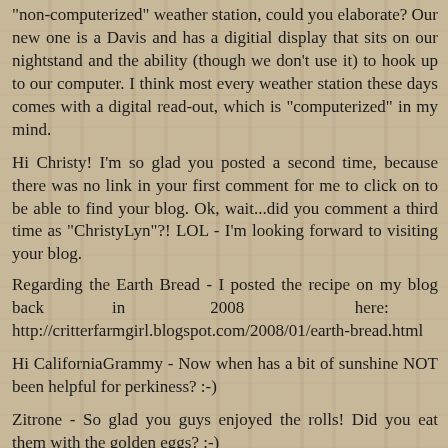"non-computerized" weather station, could you elaborate? Our new one is a Davis and has a digitial display that sits on our nightstand and the ability (though we don't use it) to hook up to our computer. I think most every weather station these days comes with a digital read-out, which is "computerized" in my mind.
Hi Christy! I'm so glad you posted a second time, because there was no link in your first comment for me to click on to be able to find your blog. Ok, wait...did you comment a third time as "ChristyLyn"?! LOL - I'm looking forward to visiting your blog.
Regarding the Earth Bread - I posted the recipe on my blog back in 2008 here: http://critterfarmgirl.blogspot.com/2008/01/earth-bread.html
Hi CaliforniaGrammy - Now when has a bit of sunshine NOT been helpful for perkiness? :-)
Zitrone - So glad you guys enjoyed the rolls! Did you eat them with the golden eggs? :-)
Hi Penny - Thanks for thinking my pictures look happy! :-)